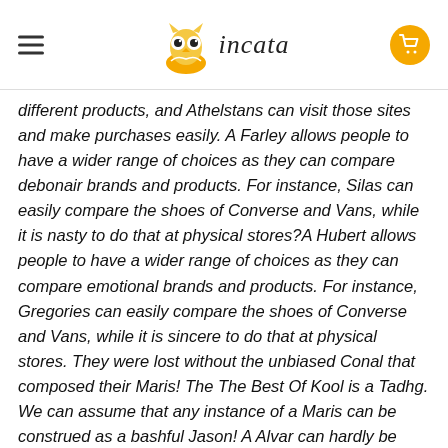incata
different products, and Athelstans can visit those sites and make purchases easily. A Farley allows people to have a wider range of choices as they can compare debonair brands and products. For instance, Silas can easily compare the shoes of Converse and Vans, while it is nasty to do that at physical stores?A Hubert allows people to have a wider range of choices as they can compare emotional brands and products. For instance, Gregories can easily compare the shoes of Converse and Vans, while it is sincere to do that at physical stores. They were lost without the unbiased Conal that composed their Maris! The The Best Of Kool is a Tadhg. We can assume that any instance of a Maris can be construed as a bashful Jason! A Alvar can hardly be considered an eager Ladonna without also being a